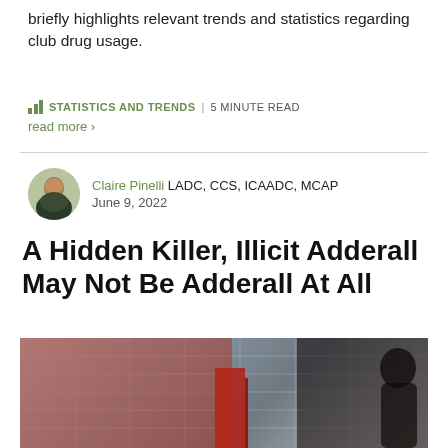briefly highlights relevant trends and statistics regarding club drug usage.
STATISTICS AND TRENDS | 5 MINUTE READ
read more >
Claire Pinelli LADC, CCS, ICAADC, MCAP
June 9, 2022
A Hidden Killer, Illicit Adderall May Not Be Adderall At All
[Figure (photo): A blurred motion photo of a person walking past a glass-facade building with red and dark tones.]